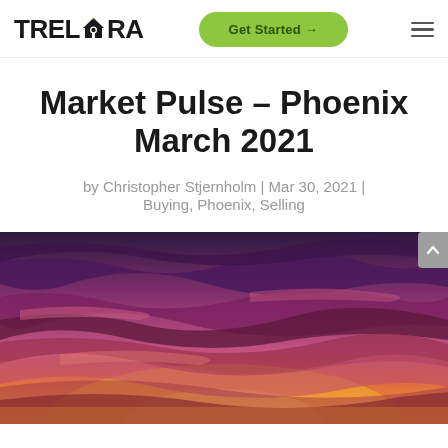TRELORA — Get Started → ☰
Market Pulse – Phoenix March 2021
by Christopher Stjernholm | Mar 30, 2021 | Buying, Phoenix, Selling
[Figure (photo): Dramatic purple and pink sunset sky over Phoenix with layered clouds and orange glow on the horizon]